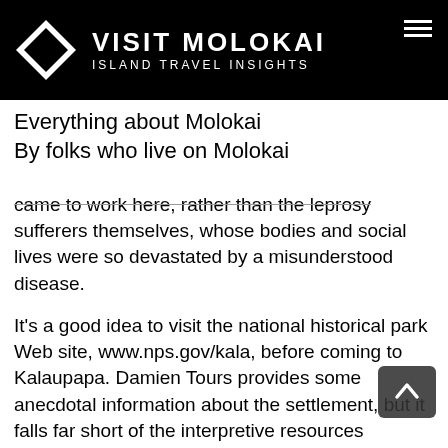VISIT MOLOKAI — ISLAND TRAVEL INSIGHTS
Everything about Molokai
By folks who live on Molokai
came to work here, rather than the leprosy sufferers themselves, whose bodies and social lives were so devastated by a misunderstood disease.
It's a good idea to visit the national historical park Web site, www.nps.gov/kala, before coming to Kalaupapa. Damien Tours provides some anecdotal information about the settlement, but it falls far short of the interpretive resources routinely found at national parks. There is a small museum and bookstore here, but no